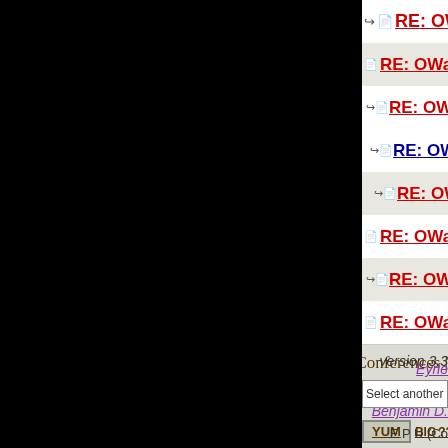RE: OWaW 22: To Glory We Steer
RE: OWaW 22: To Glory We Steer
RE: OWaW 22: To Glory We Steer
RE: OWaW 22: To Glory We S
RE: OWaW 22: To Glory We
RE: OWaW 22: To Glory We Steer
RE: OWaW 22: To Glory We Stee
RE: OWaW 22: To Glory We Steer
Conferences |
Select another forum or conf
YUM   BIG   ??!?   RANT   GNDN
version 3.3
Eyrie Productions
Benjamin D.
E P U (Co